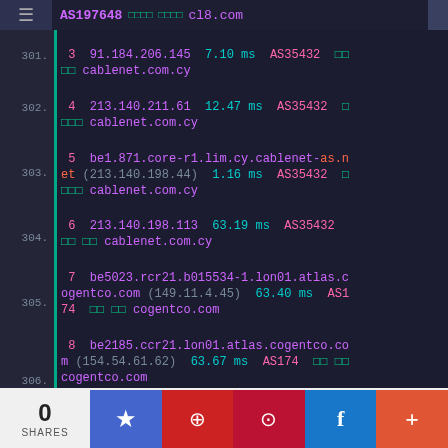AS197648 □□□□ □□□□ cl8.com
301.  3  91.184.206.145  7.10 ms  AS35432  □□ □□  cablenet.com.cy
302.  4  213.140.211.61  12.47 ms  AS35432  □ □□□  cablenet.com.cy
303.  5  be1.871.core-r1.lim.cy.cablenet-as.net (213.140.198.44)  1.16 ms  AS35432  □ □□□  cablenet.com.cy
304.  6  213.140.198.113  63.19 ms  AS35432 □□ □□  cablenet.com.cy
305.  7  be5023.rcr21.b015534-1.lon01.atlas.cogentco.com (149.11.4.45)  63.40 ms  AS174  □□ □□  cogentco.com
306.  8  be2185.ccr21.lon01.atlas.cogentco.com (154.54.61.62)  63.67 ms  AS174  □□ □□  cogentco.com
307.  9  be2871.ccr42.lon13.atlas.cogentco.com (154.54.58.185)  63.71 ms  AS174  □□ □ □  cogentco.com
308.  10  be2382.rcr21.b015533-1.lon13.atlas.c...
0 SHARES  ★  微博  🔍  f  +